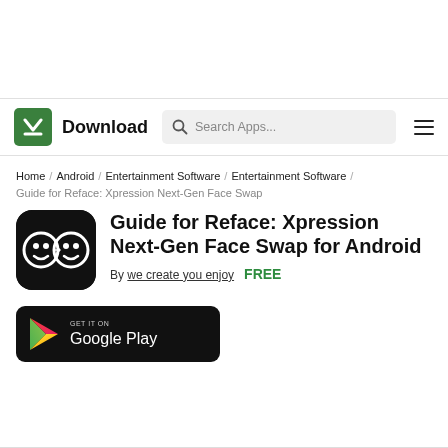[Figure (logo): Download.com navigation bar with green logo, search box, and hamburger menu]
Home / Android / Entertainment Software / Entertainment Software / Guide for Reface: Xpression Next-Gen Face Swap
Guide for Reface: Xpression Next-Gen Face Swap for Android
By we create you enjoy   FREE
[Figure (screenshot): Get it on Google Play badge]